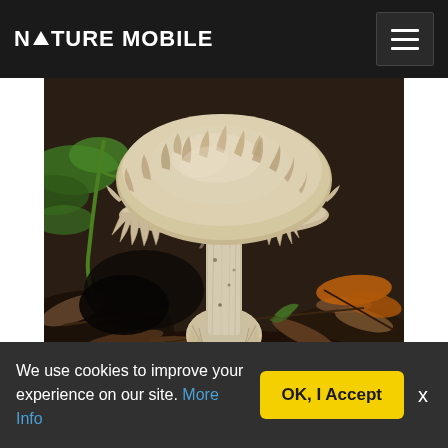NATURE MOBILE
[Figure (photo): Close-up photograph of a large mushroom with a wide, shaggy/spiky pale beige cap with upturned frilled edges, a thick whitish stalk with a bulbous volva base, growing from dark forest floor covered in leaf litter and twigs, with green foliage visible in the background.]
We use cookies to improve your experience on our site. More Info
OK, I Accept
x